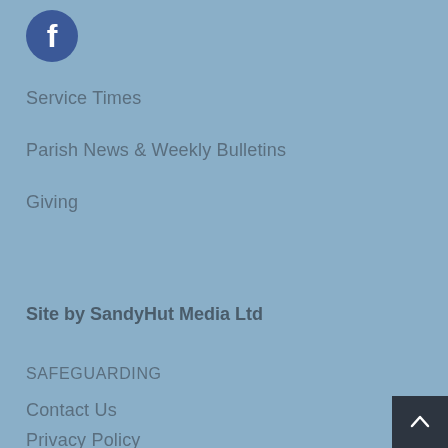[Figure (logo): Facebook logo icon — white 'f' on dark blue circle]
Service Times
Parish News & Weekly Bulletins
Giving
Site by SandyHut Media Ltd
SAFEGUARDING
Contact Us
Privacy Policy